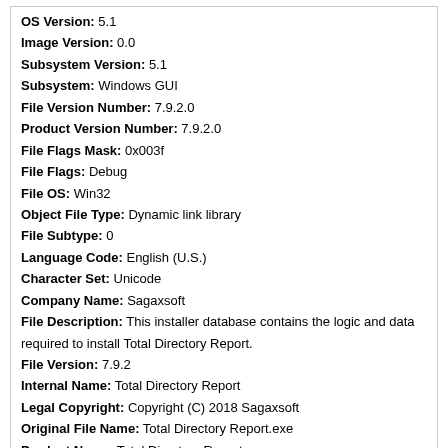OS Version: 5.1
Image Version: 0.0
Subsystem Version: 5.1
Subsystem: Windows GUI
File Version Number: 7.9.2.0
Product Version Number: 7.9.2.0
File Flags Mask: 0x003f
File Flags: Debug
File OS: Win32
Object File Type: Dynamic link library
File Subtype: 0
Language Code: English (U.S.)
Character Set: Unicode
Company Name: Sagaxsoft
File Description: This installer database contains the logic and data required to install Total Directory Report.
File Version: 7.9.2
Internal Name: Total Directory Report
Legal Copyright: Copyright (C) 2018 Sagaxsoft
Original File Name: Total Directory Report.exe
Product Name: Total Directory Report
Product Version: 7.9.2
Short description
Total Directory Report is a way to generate accessible reports